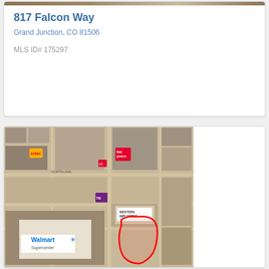817 Falcon Way
Grand Junction, CO 81506
MLS ID# 175297
[Figure (map): Aerial satellite map showing the property at 817 Falcon Way in Grand Junction, CO. Surrounding businesses visible include Walmart, Walgreens, Taco Bell, and Western Implement. A red outline indicates the subject property parcel in a commercial area.]